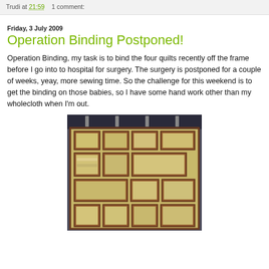Trudi at 21:59    1 comment:
Friday, 3 July 2009
Operation Binding Postponed!
Operation Binding, my task is to bind the four quilts recently off the frame before I go into to hospital for surgery. The surgery is postponed for a couple of weeks, yeay, more sewing time. So the challenge for this weekend is to get the binding on those babies, so I have some hand work other than my wholecloth when I'm out.
[Figure (photo): A quilt hanging outdoors, showing a patchwork pattern with rectangular blocks in earthy tones of brown, yellow-green, and muted pastels, with brown sashing between the blocks.]